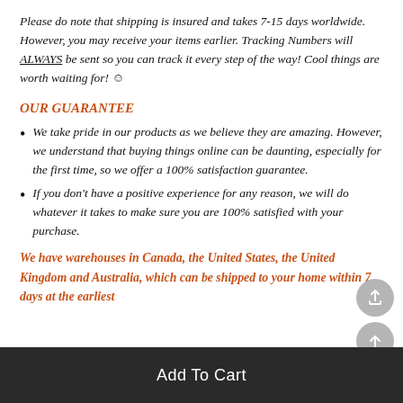Please do note that shipping is insured and takes 7-15 days worldwide. However, you may receive your items earlier. Tracking Numbers will ALWAYS be sent so you can track it every step of the way! Cool things are worth waiting for! ☺
OUR GUARANTEE
We take pride in our products as we believe they are amazing. However, we understand that buying things online can be daunting, especially for the first time, so we offer a 100% satisfaction guarantee.
If you don't have a positive experience for any reason, we will do whatever it takes to make sure you are 100% satisfied with your purchase.
We have warehouses in Canada, the United States, the United Kingdom and Australia, which can be shipped to your home within 7 days at the earliest
Add To Cart